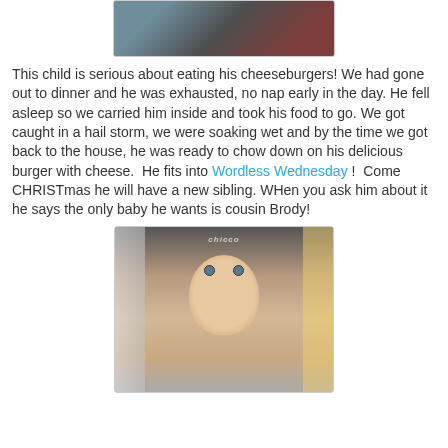[Figure (photo): Photo of a child asleep in a restaurant or car seat, partially visible, top portion cropped]
This child is serious about eating his cheeseburgers! We had gone out to dinner and he was exhausted, no nap early in the day. He fell asleep so we carried him inside and took his food to go. We got caught in a hail storm, we were soaking wet and by the time we got back to the house, he was ready to chow down on his delicious burger with cheese.  He fits into Wordless Wednesday !  Come CHRISTmas he will have a new sibling. WHen you ask him about it he says the only baby he wants is cousin Brody!
[Figure (photo): Photo of a baby in a Chicco car seat, looking directly at the camera with a serious expression]